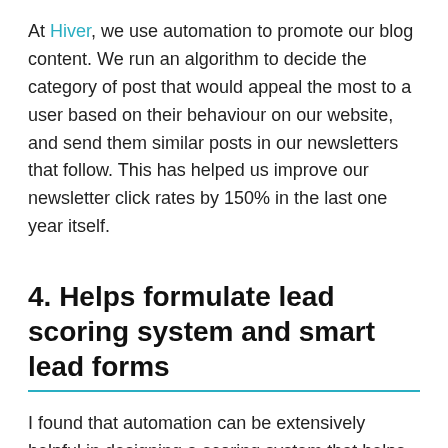At Hiver, we use automation to promote our blog content. We run an algorithm to decide the category of post that would appeal the most to a user based on their behaviour on our website, and send them similar posts in our newsletters that follow. This has helped us improve our newsletter click rates by 150% in the last one year itself.
4. Helps formulate lead scoring system and smart lead forms
I found that automation can be extensively helpful in designing a scoring system that helps you define